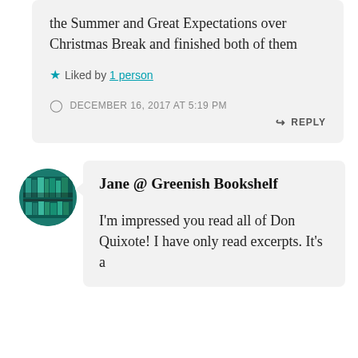the Summer and Great Expectations over Christmas Break and finished both of them
Liked by 1 person
DECEMBER 16, 2017 AT 5:19 PM
REPLY
[Figure (photo): Circular avatar showing a bookshelf with green-spined books]
Jane @ Greenish Bookshelf
I'm impressed you read all of Don Quixote! I have only read excerpts. It's a